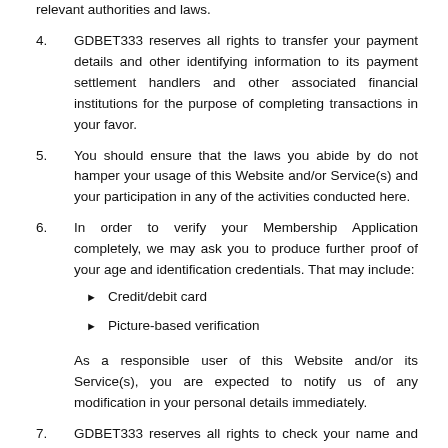relevant authorities and laws.
4. GDBET333 reserves all rights to transfer your payment details and other identifying information to its payment settlement handlers and other associated financial institutions for the purpose of completing transactions in your favor.
5. You should ensure that the laws you abide by do not hamper your usage of this Website and/or Service(s) and your participation in any of the activities conducted here.
6. In order to verify your Membership Application completely, we may ask you to produce further proof of your age and identification credentials. That may include:
Credit/debit card
Picture-based verification
As a responsible user of this Website and/or its Service(s), you are expected to notify us of any modification in your personal details immediately.
7. GDBET333 reserves all rights to check your name and residential address through post. It is at our discretion to